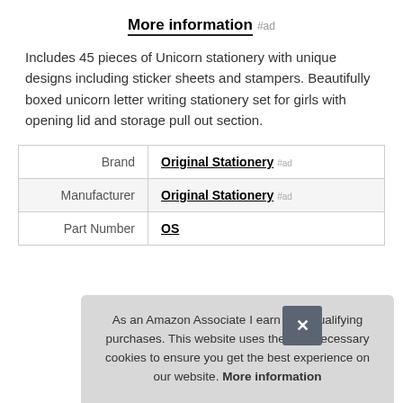More information #ad
Includes 45 pieces of Unicorn stationery with unique designs including sticker sheets and stampers. Beautifully boxed unicorn letter writing stationery set for girls with opening lid and storage pull out section.
| Brand | Original Stationery #ad |
| Manufacturer | Original Stationery #ad |
| Part Number | OS |
As an Amazon Associate I earn from qualifying purchases. This website uses the only necessary cookies to ensure you get the best experience on our website. More information